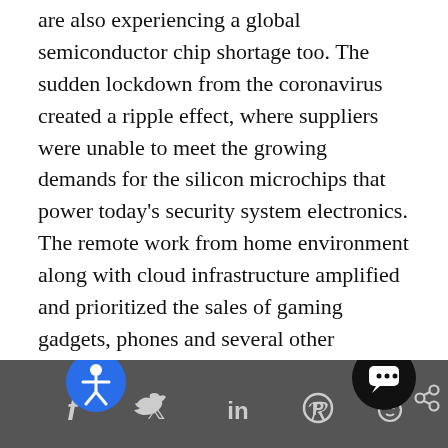are also experiencing a global semiconductor chip shortage too. The sudden lockdown from the coronavirus created a ripple effect, where suppliers were unable to meet the growing demands for the silicon microchips that power today's security system electronics. The remote work from home environment along with cloud infrastructure amplified and prioritized the sales of gaming gadgets, phones and several other electronic devices. And, the remaining stock of chips left available was insufficient to catch up to the pent-up demand in a slew of industries, including the security industry.
[Figure (other): Website footer bar with social media icons (Facebook, Twitter, LinkedIn, Pinterest, Reddit, share link), an accessibility button (blue circle with person icon) overlaid at bottom-left, and a chat button (black circle with speech bubble icon) at bottom-right.]